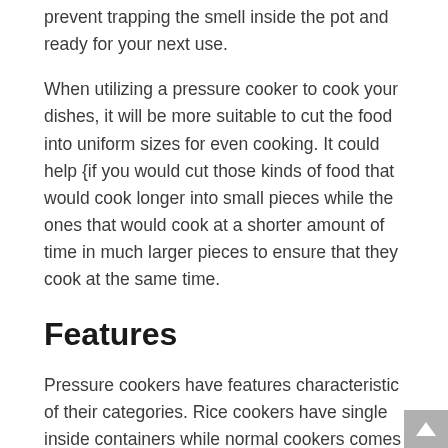prevent trapping the smell inside the pot and ready for your next use.
When utilizing a pressure cooker to cook your dishes, it will be more suitable to cut the food into uniform sizes for even cooking. It could help {if you would cut those kinds of food that would cook longer into small pieces while the ones that would cook at a shorter amount of time in much larger pieces to ensure that they cook at the same time.
Features
Pressure cookers have features characteristic of their categories. Rice cookers have single inside containers while normal cookers comes with multi deck containers. Another identifying feature of rice cookers is reasonably thinner construction.